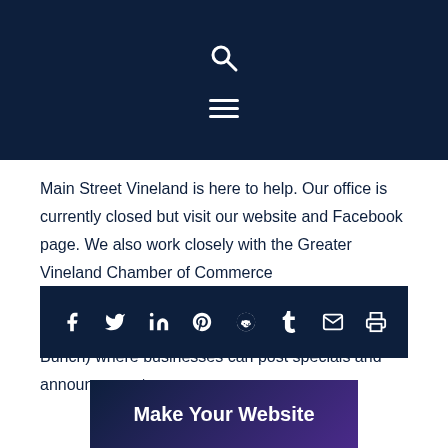[Figure (screenshot): Dark navy header bar with a white search icon (magnifying glass) and a white hamburger menu icon (three horizontal lines)]
Main Street Vineland is here to help. Our office is currently closed but visit our website and Facebook page. We also work closely with the Greater Vineland Chamber of Commerce (vinelandchamber.org). They have started a Facebook group (Vineland Chamber Business Bunch) where businesses can post specials and announcements.
[Figure (infographic): Dark navy share bar with white social media icons: Facebook, Twitter, LinkedIn, Pinterest, Reddit, Tumblr, Email, Print]
[Figure (screenshot): Dark navy/purple gradient banner with white bold text: Make Your Website]